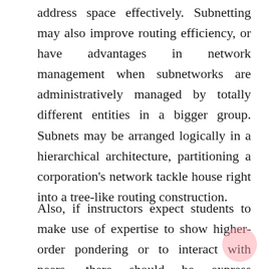address space effectively. Subnetting may also improve routing efficiency, or have advantages in network management when subnetworks are administratively managed by totally different entities in a bigger group. Subnets may be arranged logically in a hierarchical architecture, partitioning a corporation's network tackle house right into a tree-like routing construction.
Also, if instructors expect students to make use of expertise to show higher-order pondering or to interact with peers, there should be express instructions to take action. For instance, Prestridge found that college